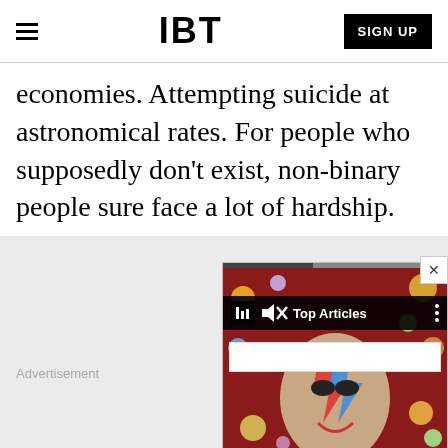IBT | SIGN UP
economies. Attempting suicide at astronomical rates. For people who supposedly don't exist, non-binary people sure face a lot of hardship.
[Figure (screenshot): Gray advertisement area with 'Advertisement' label and a popup overlay showing IBT Top Articles panel with a colorful image (David Bowie-like figure with face paint against a space-themed background), a close button (X), a toolbar with logo and 'Top Articles' text, and a search/input bar.]